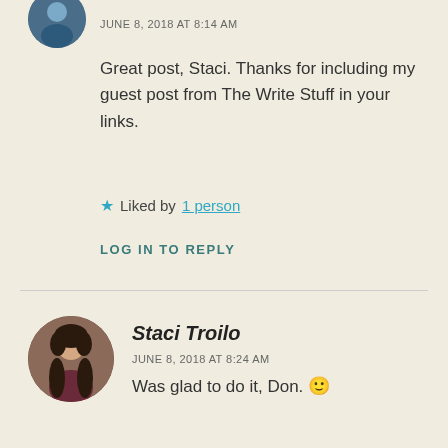[Figure (photo): Circular avatar photo of a person, partially cropped at top of page]
JUNE 8, 2018 AT 8:14 AM
Great post, Staci. Thanks for including my guest post from The Write Stuff in your links.
★ Liked by 1 person
LOG IN TO REPLY
[Figure (photo): Circular avatar photo of Staci Troilo, a woman with dark wavy hair]
Staci Troilo
JUNE 8, 2018 AT 8:24 AM
Was glad to do it, Don. 🙂